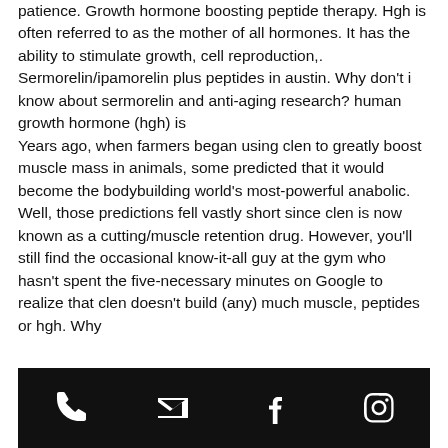patience. Growth hormone boosting peptide therapy. Hgh is often referred to as the mother of all hormones. It has the ability to stimulate growth, cell reproduction,. Sermorelin/ipamorelin plus peptides in austin. Why don't i know about sermorelin and anti-aging research? human growth hormone (hgh) is
Years ago, when farmers began using clen to greatly boost muscle mass in animals, some predicted that it would become the bodybuilding world's most-powerful anabolic. Well, those predictions fell vastly short since clen is now known as a cutting/muscle retention drug. However, you'll still find the occasional know-it-all guy at the gym who hasn't spent the five-necessary minutes on Google to realize that clen doesn't build (any) much muscle, peptides or hgh. Why
[phone] [email] [facebook] [instagram]